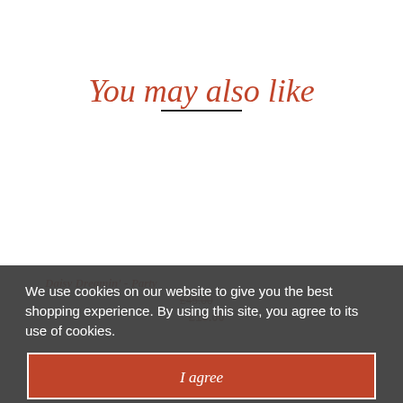You may also like
Daisy Dreamin' - Party
We use cookies on our website to give you the best shopping experience. By using this site, you agree to its use of cookies.
I agree